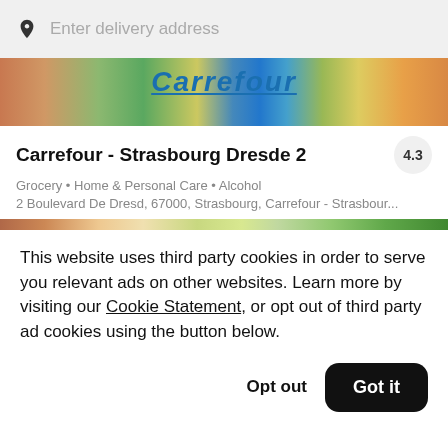[Figure (screenshot): Search bar with pin icon and placeholder text 'Enter delivery address' on a light grey background]
[Figure (photo): Top food banner image showing salmon, pepper, vegetables and Carrefour logo in blue text]
Carrefour - Strasbourg Dresde 2
4.3
Grocery • Home & Personal Care • Alcohol
2 Boulevard De Dresd, 67000, Strasbourg, Carrefour - Strasbour...
[Figure (photo): Bottom food banner image showing a bowl of salad with greens and vegetables]
This website uses third party cookies in order to serve you relevant ads on other websites. Learn more by visiting our Cookie Statement, or opt out of third party ad cookies using the button below.
Opt out
Got it